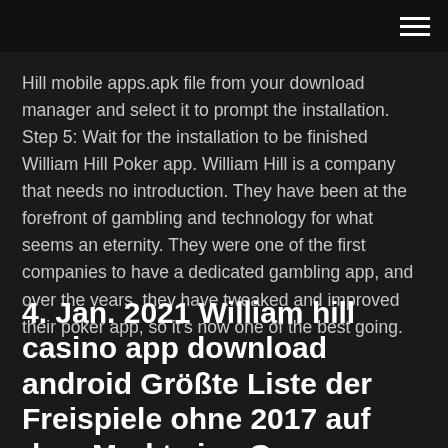Hill mobile apps.apk file from your download manager and select it to prompt the installation. Step 5: Wait for the installation to be finished William Hill Poker app. William Hill is a company that needs no introduction. They have been at the forefront of gambling and technology for what seems an eternity. They were one of the first companies to have a dedicated gambling app, and over the years, they have tweaked and improved their poker app, so it's now one of the best going.
4. Jan. 2021 William hill casino app download android Größte Liste der Freispiele ohne 2017 auf dem Markt eine Gruppe von